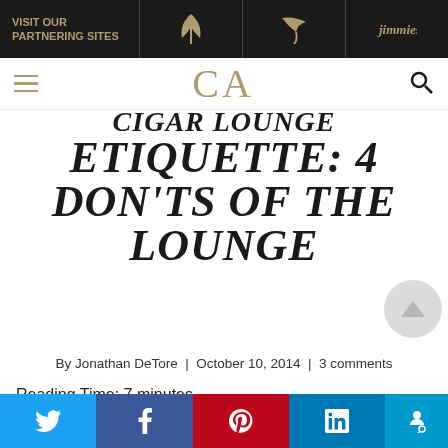VISIT OUR PARTNERING SITES
[Figure (logo): CA logo navigation bar with hamburger menu and search icon]
CIGAR LOUNGE ETIQUETTE: 4 DON'TS OF THE LOUNGE
By Jonathan DeTore | October 10, 2014 | 3 comments
Reading Time: 7 minutes
[Figure (infographic): Social share bar with Twitter, Facebook, Pinterest, LinkedIn, and Accessibility icons]